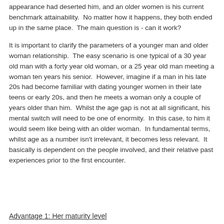appearance had deserted him, and an older women is his current benchmark attainability.  No matter how it happens, they both ended up in the same place.  The main question is - can it work?
It is important to clarify the parameters of a younger man and older woman relationship.  The easy scenario is one typical of a 30 year old man with a forty year old woman, or a 25 year old man meeting a woman ten years his senior.  However, imagine if a man in his late 20s had become familiar with dating younger women in their late teens or early 20s, and then he meets a woman only a couple of years older than him.  Whilst the age gap is not at all significant, his mental switch will need to be one of enormity.  In this case, to him it would seem like being with an older woman.  In fundamental terms, whilst age as a number isn't irrelevant, it becomes less relevant.  It basically is dependent on the people involved, and their relative past experiences prior to the first encounter.
Advantage 1: Her maturity level